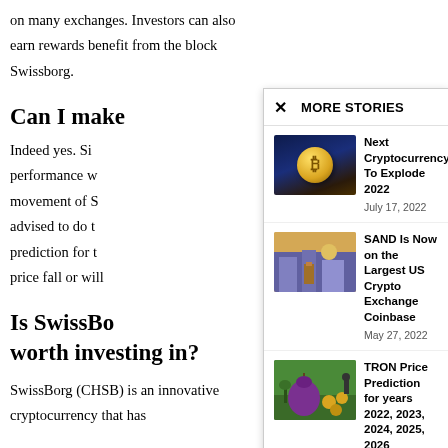on many exchanges. Investors can also earn rewards benefit from the block Swissborg.
Can I make
Indeed yes. Si performance w movement of S advised to do t prediction for t price fall or will
Is SwissBo worth investing in?
SwissBorg (CHSB) is an innovative cryptocurrency that has
[Figure (screenshot): More Stories popup overlay with three article entries]
Next Cryptocurrency To Explode 2022
July 17, 2022
SAND Is Now on the Largest US Crypto Exchange Coinbase
May 27, 2022
TRON Price Prediction for years 2022, 2023, 2024, 2025, 2026
May 30, 2022